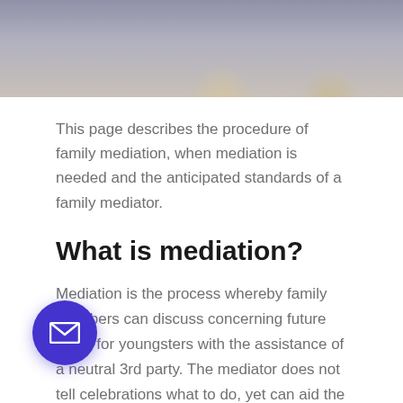[Figure (photo): A photo strip showing family members including children looking distressed, partially cropped at top of page.]
This page describes the procedure of family mediation, when mediation is needed and the anticipated standards of a family mediator.
What is mediation?
Mediation is the process whereby family members can discuss concerning future plans for youngsters with the assistance of a neutral 3rd party. The mediator does not tell celebrations what to do, yet can aid the events to reach their very own contracts amicably, trying to enhance communication in between